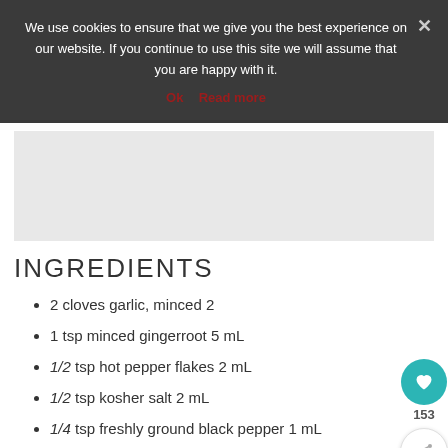We use cookies to ensure that we give you the best experience on our website. If you continue to use this site we will assume that you are happy with it.
Ok  Read more
[Figure (other): Gray image placeholder box]
INGREDIENTS
2 cloves garlic, minced 2
1 tsp minced gingerroot 5 mL
1/2 tsp hot pepper flakes 2 mL
1/2 tsp kosher salt 2 mL
1/4 tsp freshly ground black pepper 1 mL